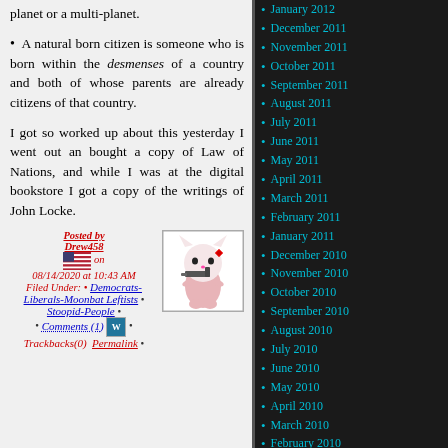planet or a multi-planet.
A natural born citizen is someone who is born within the desmenses of a country and both of whose parents are already citizens of that country.
I got so worked up about this yesterday I went out an bought a copy of Law of Nations, and while I was at the digital bookstore I got a copy of the writings of John Locke.
Posted by Drew458 on 08/14/2020 at 10:43 AM Filed Under: • Democrats-Liberals-Moonbat Leftists • Stoopid-People • Comments (1) • Trackbacks(0) Permalink •
January 2012
December 2011
November 2011
October 2011
September 2011
August 2011
July 2011
June 2011
May 2011
April 2011
March 2011
February 2011
January 2011
December 2010
November 2010
October 2010
September 2010
August 2010
July 2010
June 2010
May 2010
April 2010
March 2010
February 2010
January 2010
December 2009
November 2009
October 2009
September 2009
August 2009
July 2009
June 2009
May 2009
April 2009
March 2009
February 2009
January 2009
December 2008
November 2008
October 2008
September 2008